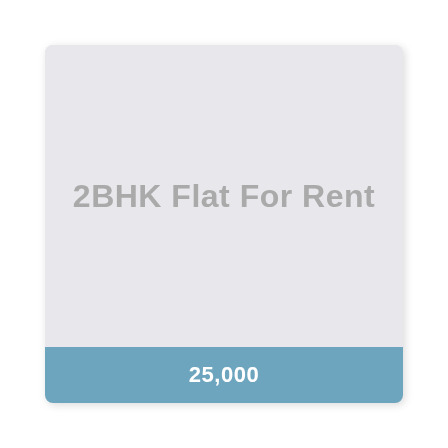[Figure (illustration): A listing card for a 2BHK Flat For Rent with a light grey placeholder image area and a blue footer bar showing the price 25,000]
2BHK Flat For Rent
25,000